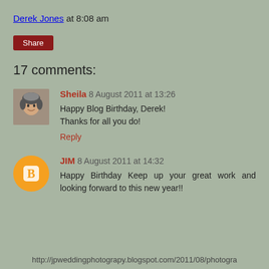Derek Jones at 8:08 am
Share
17 comments:
Sheila 8 August 2011 at 13:26
Happy Blog Birthday, Derek!
Thanks for all you do!
Reply
JIM 8 August 2011 at 14:32
Happy Birthday Keep up your great work and looking forward to this new year!!
http://jpweddingphotograpy.blogspot.com/2011/08/photogra